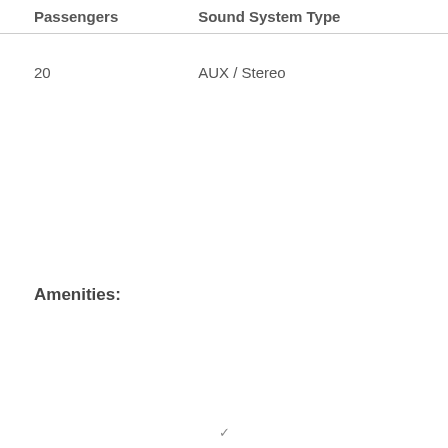| Passengers | Sound System Type |
| --- | --- |
| 20 | AUX / Stereo |
Amenities: